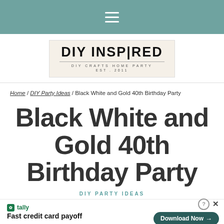Navigation bar with hamburger menu
[Figure (logo): DIY Inspired logo — bold text 'DIY INSPIRED' with decorative fork/tool icon, subtitle 'DIY CRAFTS HOME PARTY', 'EST. 2011', on cream background]
Home / DIY Party Ideas / Black White and Gold 40th Birthday Party
Black White and Gold 40th Birthday Party
DIY PARTY IDEAS
Tally — Fast credit card payoff — Download Now